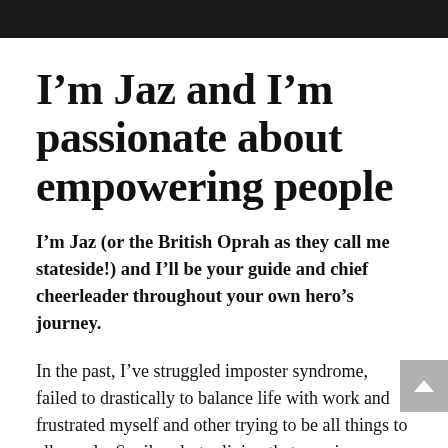I'm Jaz and I'm passionate about empowering people
I'm Jaz (or the British Oprah as they call me stateside!) and I'll be your guide and chief cheerleader throughout your own hero's journey.
In the past, I've struggled imposter syndrome, failed to drastically to balance life with work and frustrated myself and other trying to be all things to all people. Spoiler alert – living that way is exhausting!